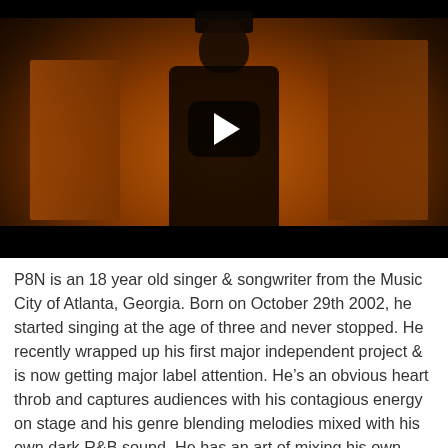[Figure (photo): Video thumbnail showing a young male artist in a black hoodie and cap, standing in front of orange-lit shelving/stairs, with a play button overlay in the center.]
P8N is an 18 year old singer & songwriter from the Music City of Atlanta, Georgia. Born on October 29th 2002, he started singing at the age of three and never stopped. He recently wrapped up his first major independent project & is now getting major label attention. He's an obvious heart throb and captures audiences with his contagious energy on stage and his genre blending melodies mixed with his own dark R&B sound. He has an art of mixing his own emotions and experiences as a teenager into songs that are relatable to all